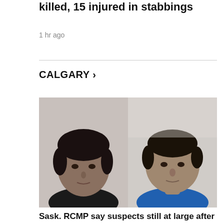killed, 15 injured in stabbings
1 hr ago
CALGARY >
[Figure (photo): Two male suspects side by side in what appear to be police booking photos. Left person wears a dark shirt, right person wears a blue shirt. Both are against a light wall background.]
Sask. RCMP say suspects still at large after 10 killed, 15 injured in stabbings